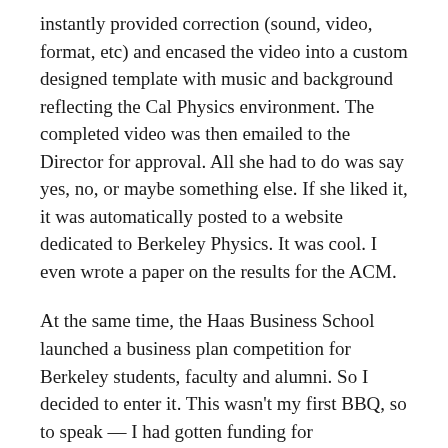instantly provided correction (sound, video, format, etc) and encased the video into a custom designed template with music and background reflecting the Cal Physics environment. The completed video was then emailed to the Director for approval. All she had to do was say yes, no, or maybe something else. If she liked it, it was automatically posted to a website dedicated to Berkeley Physics. It was cool. I even wrote a paper on the results for the ACM.
At the same time, the Haas Business School launched a business plan competition for Berkeley students, faculty and alumni. So I decided to enter it. This wasn't my first BBQ, so to speak — I had gotten funding for InterProphet some years earlier, and that was a harder sell given how VCs gave up on hardware investments in the early 2000s and moved to Internet companies. But this *was* an Internet company — a fully developed video production